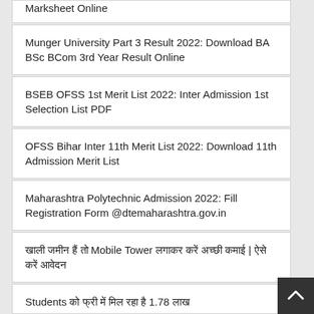Marksheet Online
Munger University Part 3 Result 2022: Download BA BSc BCom 3rd Year Result Online
BSEB OFSS 1st Merit List 2022: Inter Admission 1st Selection List PDF
OFSS Bihar Inter 11th Merit List 2022: Download 11th Admission Merit List
Maharashtra Polytechnic Admission 2022: Fill Registration Form @dtemaharashtra.gov.in
खाली जमीन हैं तो Mobile Tower लगाकर करें अच्छी कमाई | ऐसे करें आवेदन
Students को फ्री में मिल रहा है 1.78 लाख